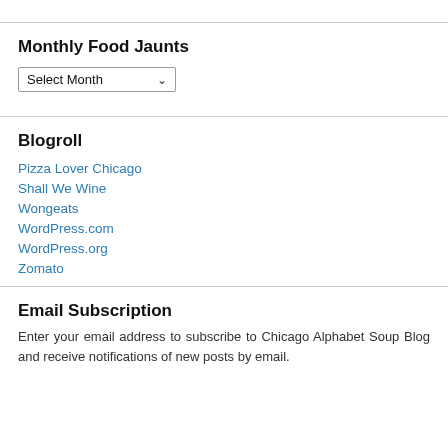Monthly Food Jaunts
Select Month
Blogroll
Pizza Lover Chicago
Shall We Wine
Wongeats
WordPress.com
WordPress.org
Zomato
Email Subscription
Enter your email address to subscribe to Chicago Alphabet Soup Blog and receive notifications of new posts by email.